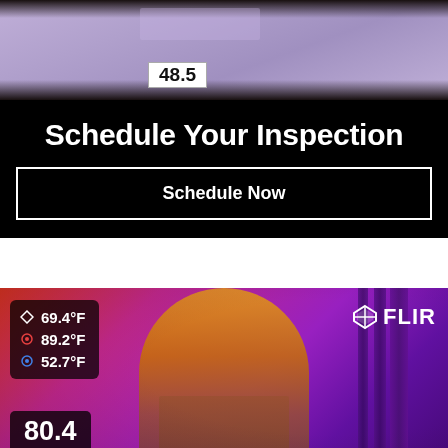[Figure (photo): Thermal infrared image (partial, top crop) showing a panel/electrical device with temperature reading overlay showing 48.5]
Schedule Your Inspection
Schedule Now
[Figure (photo): FLIR thermal infrared camera image of an electrical panel/breaker box showing heat readings: 69.4°F (center/ambient), 89.2°F (hotspot), 52.7°F (cool spot), overall reading 80.4. FLIR logo visible top right.]